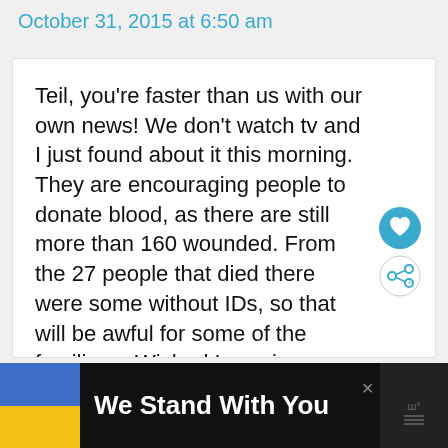October 31, 2015 at 6:50 am
Teil, you’re faster than us with our own news! We don’t watch tv and I just found about it this morning. They are encouraging people to donate blood, as there are still more than 160 wounded. From the 27 people that died there were some without IDs, so that will be awful for some of the families □ Wished I was in Bucharest to
[Figure (infographic): We Stand With You advertisement banner with Ukrainian flag colors (blue and yellow) on black background]